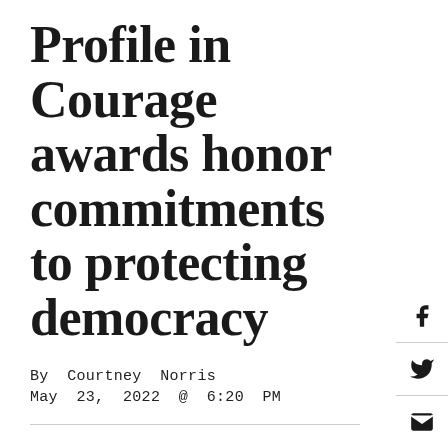Profile in Courage awards honor commitments to protecting democracy
By Courtney Norris
May 23, 2022 @ 6:20 PM
Transcript
Judy Woodruff: The annual Profile in Courage Award ceremony took place last night at the John F. Kennedy Presidential Library in Boston.